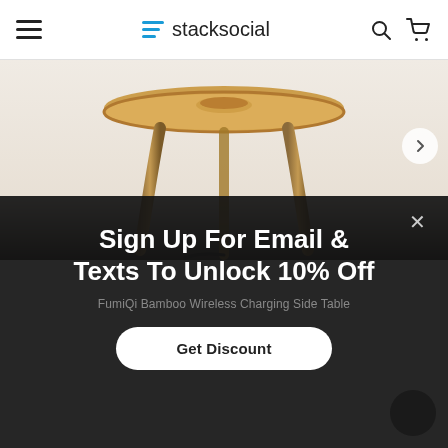stacksocial
[Figure (photo): Bamboo wireless charging side table with three legs and a round top, photographed against a light background fading into dark.]
Sign Up For Email & Texts To Unlock 10% Off
FumiQi Bamboo Wireless Charging Side Table
Get Discount